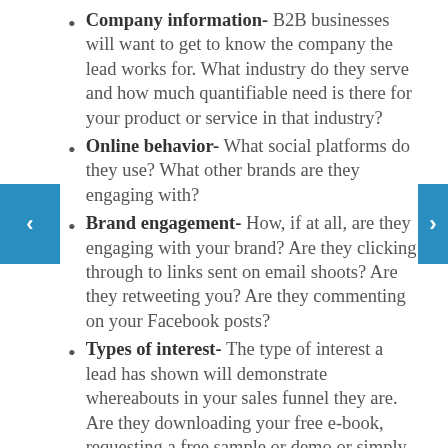Company information- B2B businesses will want to get to know the company the lead works for. What industry do they serve and how much quantifiable need is there for your product or service in that industry?
Online behavior- What social platforms do they use? What other brands are they engaging with?
Brand engagement- How, if at all, are they engaging with your brand? Are they clicking through to links sent on email shoots? Are they retweeting you? Are they commenting on your Facebook posts?
Types of interest- The type of interest a lead has shown will demonstrate whereabouts in your sales funnel they are. Are they downloading your free e-book, requesting a free sample or demo or simply viewing a product page repeatedly?
Activity level- How active are they on